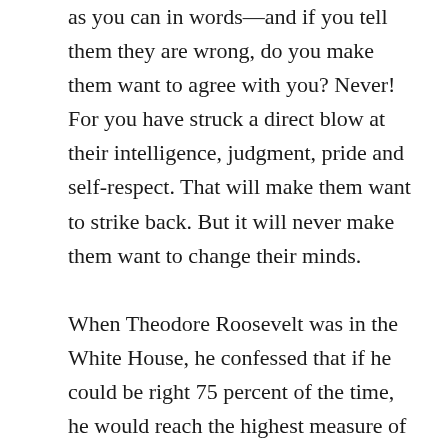as you can in words—and if you tell them they are wrong, do you make them want to agree with you? Never! For you have struck a direct blow at their intelligence, judgment, pride and self-respect. That will make them want to strike back. But it will never make them want to change their minds.

When Theodore Roosevelt was in the White House, he confessed that if he could be right 75 percent of the time, he would reach the highest measure of his expectation.  If that was the highest rating that one of the most distinguished men of the twentieth century could hope to obtain, what about you and me?  If you can be sure of being right only 55 percent of the time, you can go down to Wall Street and make a million dollars a day. If you can't be sure of being right even 55